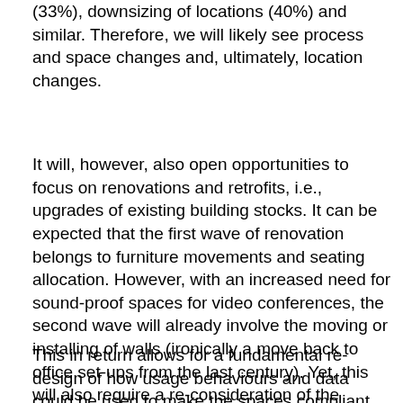(33%), downsizing of locations (40%) and similar. Therefore, we will likely see process and space changes and, ultimately, location changes.
It will, however, also open opportunities to focus on renovations and retrofits, i.e., upgrades of existing building stocks. It can be expected that the first wave of renovation belongs to furniture movements and seating allocation. However, with an increased need for sound-proof spaces for video conferences, the second wave will already involve the moving or installing of walls (ironically a move back to office set-ups from the last century). Yet, this will also require a re-consideration of the lighting and air conditions towards a more demand-based, human-centric lighting and building control.
This in return allows for a fundamental re-design of how usage behaviours and data could be used to make the spaces compliant with the upcoming ESG and societal